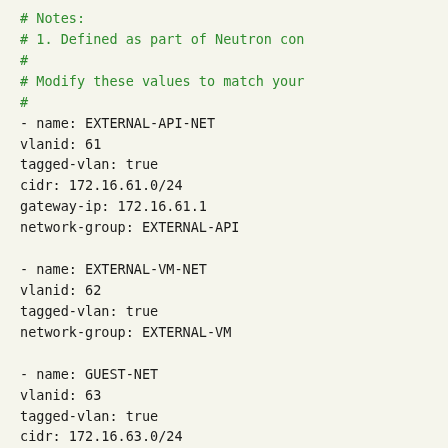# Notes:
# 1. Defined as part of Neutron con
#
# Modify these values to match your
#
- name: EXTERNAL-API-NET
vlanid: 61
tagged-vlan: true
cidr: 172.16.61.0/24
gateway-ip: 172.16.61.1
network-group: EXTERNAL-API

- name: EXTERNAL-VM-NET
vlanid: 62
tagged-vlan: true
network-group: EXTERNAL-VM

- name: GUEST-NET
vlanid: 63
tagged-vlan: true
cidr: 172.16.63.0/24
gateway-ip: 172.16.63.1